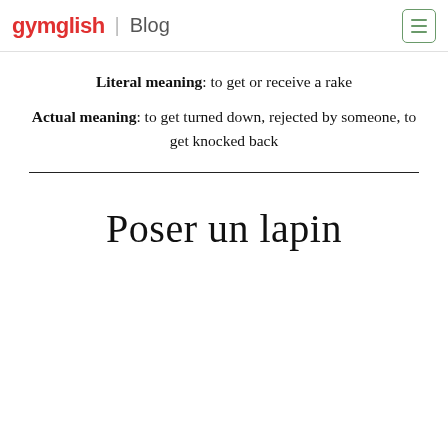gymglish Blog
Literal meaning: to get or receive a rake
Actual meaning: to get turned down, rejected by someone, to get knocked back
Poser un lapin